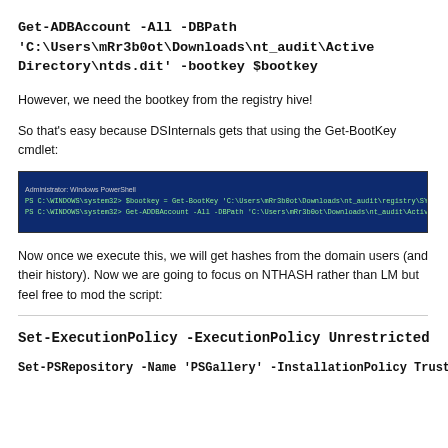Get-ADBAccount -All -DBPath 'C:\Users\mRr3b0ot\Downloads\nt_audit\Active Directory\ntds.dit' -bootkey $bootkey
However, we need the bootkey from the registry hive!
So that's easy because DSInternals gets that using the Get-BootKey cmdlet:
[Figure (screenshot): Windows PowerShell terminal showing two command lines: one with Get-BootKey and one with Get-ADDBAccount commands, green text on dark blue background]
Now once we execute this, we will get hashes from the domain users (and their history). Now we are going to focus on NTHASH rather than LM but feel free to mod the script:
Set-ExecutionPolicy -ExecutionPolicy Unrestricted
Set-PSRepository -Name 'PSGallery' -InstallationPolicy Trusted